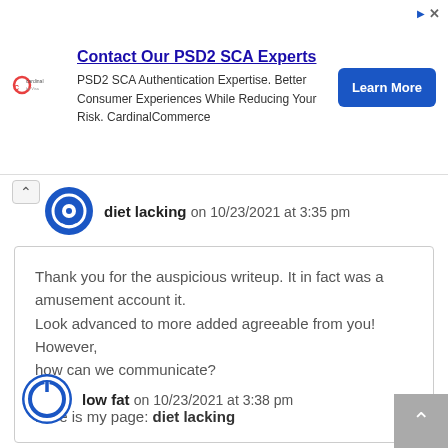[Figure (screenshot): Advertisement banner for CardinalCommerce PSD2 SCA Experts with logo, text, and Learn More button]
diet lacking on 10/23/2021 at 3:35 pm
Thank you for the auspicious writeup. It in fact was a amusement account it.
Look advanced to more added agreeable from you! However,
how can we communicate?

Here is my page: diet lacking
Reply
low fat on 10/23/2021 at 3:38 pm